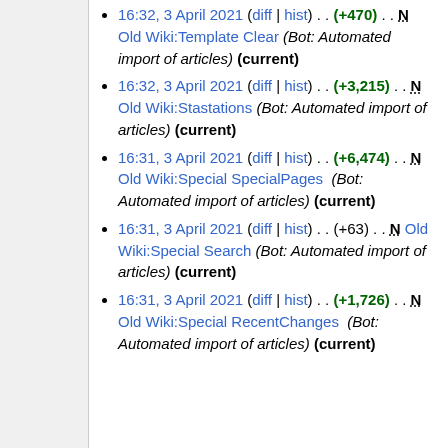16:32, 3 April 2021 (diff | hist) . . (+470) . . N Old Wiki:Template Clear (Bot: Automated import of articles) (current)
16:32, 3 April 2021 (diff | hist) . . (+3,215) . . N Old Wiki:Stastations (Bot: Automated import of articles) (current)
16:31, 3 April 2021 (diff | hist) . . (+6,474) . . N Old Wiki:Special SpecialPages (Bot: Automated import of articles) (current)
16:31, 3 April 2021 (diff | hist) . . (+63) . . N Old Wiki:Special Search (Bot: Automated import of articles) (current)
16:31, 3 April 2021 (diff | hist) . . (+1,726) . . N Old Wiki:Special RecentChanges (Bot: Automated import of articles) (current)